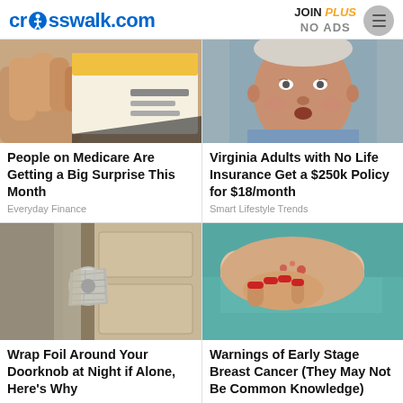crosswalk.com  JOIN PLUS NO ADS
[Figure (photo): Close-up of a hand holding a card or envelope with Medicare-related content]
People on Medicare Are Getting a Big Surprise This Month
Everyday Finance
[Figure (photo): Elderly man looking surprised]
Virginia Adults with No Life Insurance Get a $250k Policy for $18/month
Smart Lifestyle Trends
[Figure (photo): Door knob wrapped in aluminum foil]
Wrap Foil Around Your Doorknob at Night if Alone, Here's Why
[Figure (photo): Woman scratching her chest/skin, early stage breast cancer warning signs]
Warnings of Early Stage Breast Cancer (They May Not Be Common Knowledge)